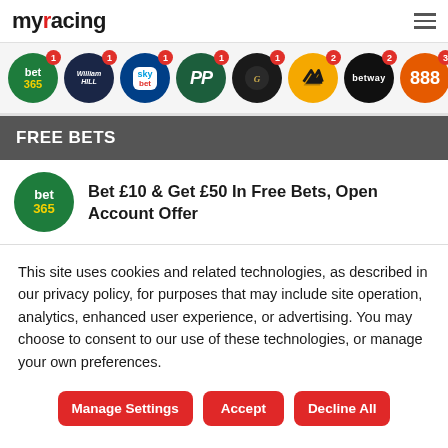myracing
[Figure (logo): Row of bookmaker logos: bet365 (badge:1), William Hill (badge:1), Sky Bet (badge:1), Paddy Power (badge:1), Grosvenor (badge:1), Betfair (badge:2), Betway (badge:2), 888 (badge:3)]
FREE BETS
Bet £10 & Get £50 In Free Bets, Open Account Offer
This site uses cookies and related technologies, as described in our privacy policy, for purposes that may include site operation, analytics, enhanced user experience, or advertising. You may choose to consent to our use of these technologies, or manage your own preferences.
Manage Settings
Accept
Decline All